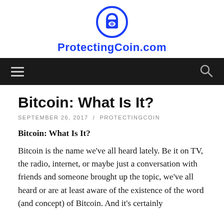ProtectingCoin.com
Bitcoin: What Is It?
SEPTEMBER 26, 2017 / PROTECTINGCOIN
Bitcoin: What Is It?
Bitcoin is the name we've all heard lately. Be it on TV, the radio, internet, or maybe just a conversation with friends and someone brought up the topic, we've all heard or are at least aware of the existence of the word (and concept) of Bitcoin. And it's certainly